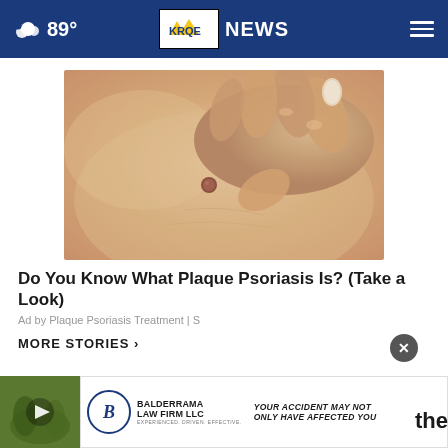☁ 89° KRQE NEWS
[Figure (photo): Close-up photo of a hand scratching skin with a mole/spot, suggesting psoriasis condition]
Do You Know What Plaque Psoriasis Is? (Take a Look)
Ad by Plaque Psoriasis Treatment | S
MORE STORIES >
[Figure (photo): Thumbnail image with play button of outdoor sports/people scene]
[Figure (advertisement): Balderrama Law Firm LLC advertisement banner - 'YOUR ACCIDENT MAY NOT ONLY HAVE AFFECTED YOU']
the